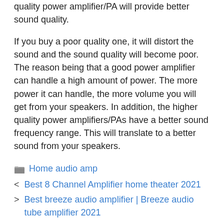quality power amplifier/PA will provide better sound quality.
If you buy a poor quality one, it will distort the sound and the sound quality will become poor. The reason being that a good power amplifier can handle a high amount of power. The more power it can handle, the more volume you will get from your speakers. In addition, the higher quality power amplifiers/PAs have a better sound frequency range. This will translate to a better sound from your speakers.
Home audio amp
Best 8 Channel Amplifier home theater 2021
Best breeze audio amplifier | Breeze audio tube amplifier 2021